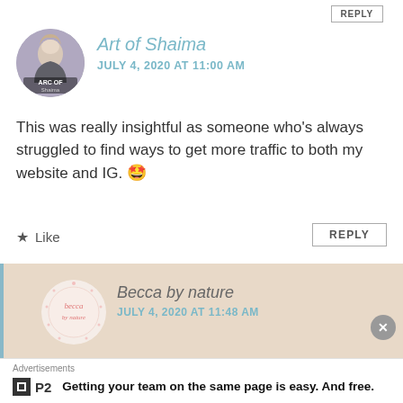REPLY
[Figure (photo): Circular avatar for Art of Shaima blog with artistic illustration and text overlay reading ARC OF Shaima]
Art of Shaima
JULY 4, 2020 AT 11:00 AM
This was really insightful as someone who’s always struggled to find ways to get more traffic to both my website and IG. 🥰
★ Like
REPLY
[Figure (logo): Circular avatar for Becca by nature blog with pink script text on light background with decorative dots]
Becca by nature
JULY 4, 2020 AT 11:48 AM
Hope it works for you! X
Advertisements
[Figure (logo): P2 logo - a small box icon next to bold text P2]
Getting your team on the same page is easy. And free.